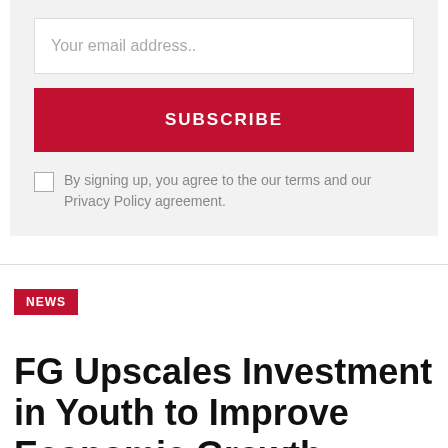Your email address..
SUBSCRIBE
By signing up, you agree to the our terms and our Privacy Policy agreement.
NEWS
FG Upscales Investment in Youth to Improve Economic Growth.